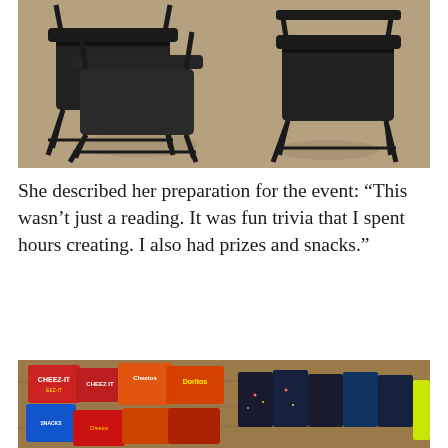[Figure (photo): Black metal folding chairs arranged on a concrete floor, viewed from above at an angle. Multiple chairs visible, dark/black color against tan concrete background.]
She described her preparation for the event: “This wasn’t just a reading. It was fun trivia that I spent hours creating. I also had prizes and snacks.”
[Figure (photo): Assortment of snack bags on a wooden table surface, including Cheez-It, Doritos, Cheetos, and other snack packages, along with small dark wrapped packages.]